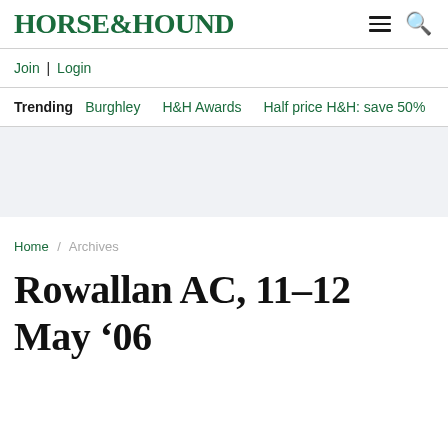HORSE&HOUND
Join | Login
Trending  Burghley  H&H Awards  Half price H&H: save 50%
Home / Archives
Rowallan AC, 11–12 May '06